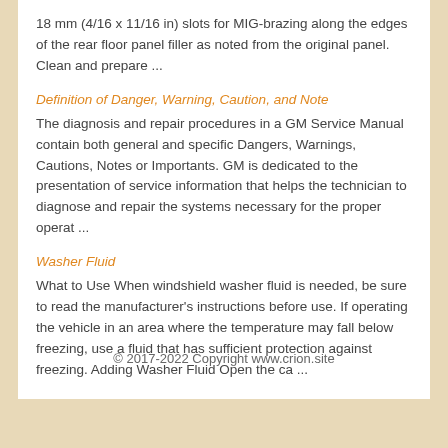18 mm (4/16 x 11/16 in) slots for MIG-brazing along the edges of the rear floor panel filler as noted from the original panel. Clean and prepare ...
Definition of Danger, Warning, Caution, and Note
The diagnosis and repair procedures in a GM Service Manual contain both general and specific Dangers, Warnings, Cautions, Notes or Importants. GM is dedicated to the presentation of service information that helps the technician to diagnose and repair the systems necessary for the proper operat ...
Washer Fluid
What to Use When windshield washer fluid is needed, be sure to read the manufacturer's instructions before use. If operating the vehicle in an area where the temperature may fall below freezing, use a fluid that has sufficient protection against freezing. Adding Washer Fluid Open the ca ...
© 2017-2022 Copyright www.crion.site